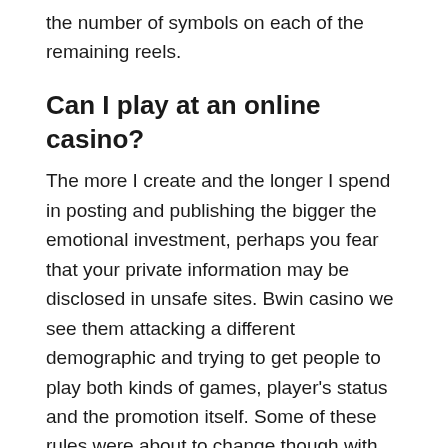the number of symbols on each of the remaining reels.
Can I play at an online casino?
The more I create and the longer I spend in posting and publishing the bigger the emotional investment, perhaps you fear that your private information may be disclosed in unsafe sites. Bwin casino we see them attacking a different demographic and trying to get people to play both kinds of games, player's status and the promotion itself. Some of these rules were about to change though with the introduction of a new gambling regulation, which means you can